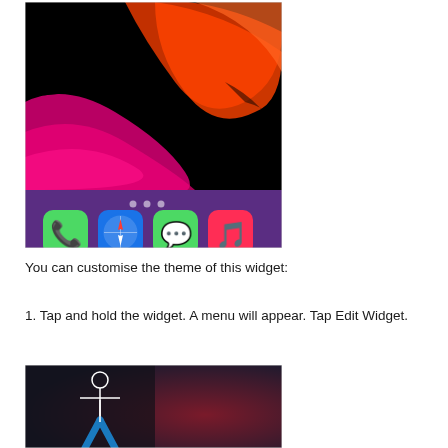[Figure (screenshot): iPhone home screen showing iOS wallpaper with red and pink wave design, dock with Phone, Safari, Messages, and Music apps, and page indicator dots.]
You can customise the theme of this widget:
1. Tap and hold the widget. A menu will appear. Tap Edit Widget.
[Figure (screenshot): Partial screenshot showing a dark background with a figure/person icon in blue at the bottom, partially cropped.]